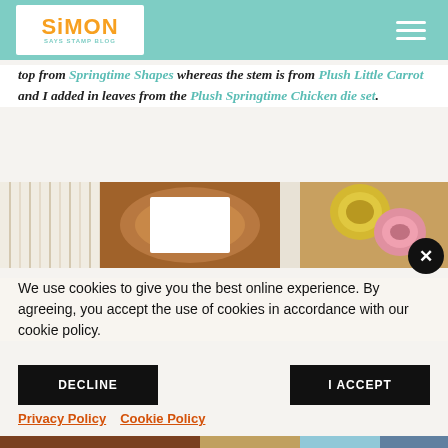Simon Says Stamp Blog - header with logo and hamburger menu
top from Springtime Shapes whereas the stem is from Plush Little Carrot and I added in leaves from the Plush Springtime Chicken die set.
[Figure (photo): Craft supplies including yarn, tape rolls in yellow and pink, wood slices, and cards on a light background]
We use cookies to give you the best online experience. By agreeing, you accept the use of cookies in accordance with our cookie policy.
DECLINE
I ACCEPT
Privacy Policy   Cookie Policy
[Figure (photo): Bottom partial photo of craft supplies]